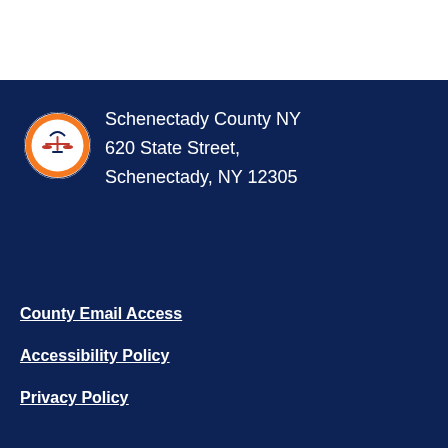[Figure (logo): Schenectady County NY official seal with orange and navy colors]
Schenectady County NY
620 State Street,
Schenectady, NY 12305
County Email Access
Accessibility Policy
Privacy Policy